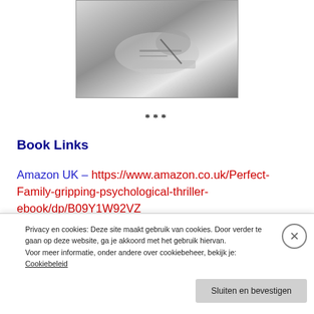[Figure (photo): Black and white photo of hands signing or writing on a document, close-up shot]
***
Book Links
Amazon UK – https://www.amazon.co.uk/Perfect-Family-gripping-psychological-thriller-ebook/dp/B09Y1W92VZ
Privacy en cookies: Deze site maakt gebruik van cookies. Door verder te gaan op deze website, ga je akkoord met het gebruik hiervan.
Voor meer informatie, onder andere over cookiebeheer, bekijk je:
Cookiebeleid
Sluiten en bevestigen